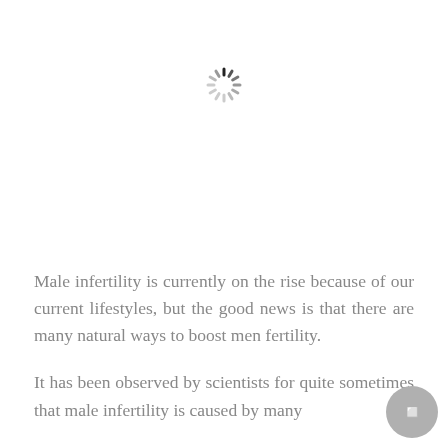[Figure (other): Loading spinner icon (circular dashed spinner) centered near the top of the page]
Male infertility is currently on the rise because of our current lifestyles, but the good news is that there are many natural ways to boost men fertility.
It has been observed by scientists for quite sometimes that male infertility is caused by many